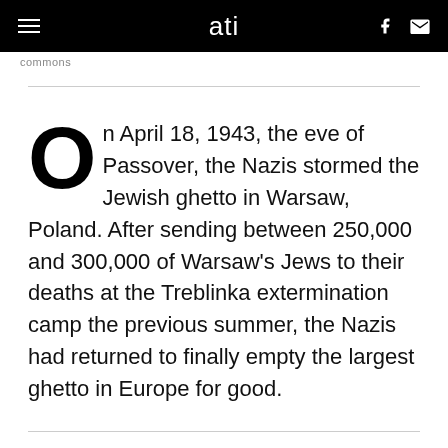ati
commons
On April 18, 1943, the eve of Passover, the Nazis stormed the Jewish ghetto in Warsaw, Poland. After sending between 250,000 and 300,000 of Warsaw's Jews to their deaths at the Treblinka extermination camp the previous summer, the Nazis had returned to finally empty the largest ghetto in Europe for good.